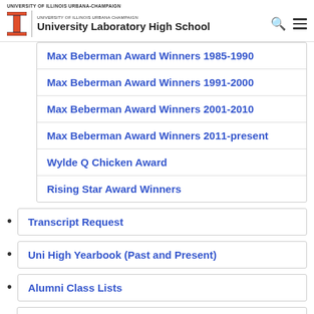University of Illinois Urbana-Champaign — University Laboratory High School
Max Beberman Award Winners 1985-1990
Max Beberman Award Winners 1991-2000
Max Beberman Award Winners 2001-2010
Max Beberman Award Winners 2011-present
Wylde Q Chicken Award
Rising Star Award Winners
Transcript Request
Uni High Yearbook (Past and Present)
Alumni Class Lists